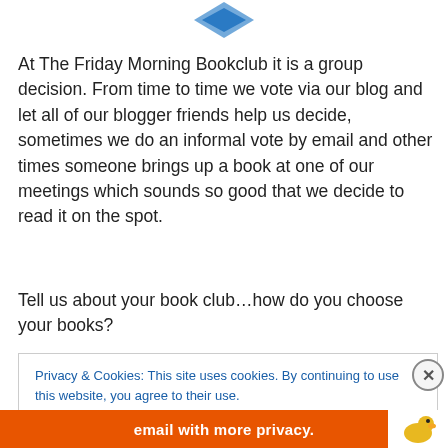[Figure (logo): Partial logo graphic at the top of the page, showing a blue diamond/book shape]
At The Friday Morning Bookclub it is a group decision. From time to time we vote via our blog and let all of our blogger friends help us decide, sometimes we do an informal vote by email and other times someone brings up a book at one of our meetings which sounds so good that we decide to read it on the spot.
Tell us about your book club…how do you choose your books?
Privacy & Cookies: This site uses cookies. By continuing to use this website, you agree to their use.
To find out more, including how to control cookies, see here: Cookie Policy
[Figure (screenshot): Close and accept button and cookie banner overlay]
[Figure (illustration): Orange banner at bottom with text 'email with more privacy.' and duck logo icon]